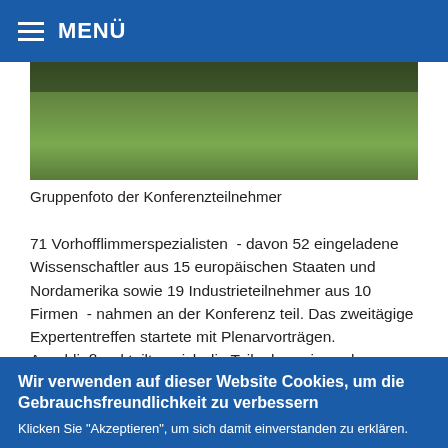MENÜ
[Figure (photo): Partial group photo of conference participants outdoors on grass, showing lower legs and feet of people standing in a group.]
Gruppenfoto der Konferenzteilnehmer
71 Vorhofflimmerspezialisten - davon 52 eingeladene Wissenschaftler aus 15 europäischen Staaten und Nordamerika sowie 19 Industrieteilnehmer aus 10 Firmen - nahmen an der Konferenz teil. Das zweitägige Expertentreffen startete mit Plenarvorträgen. Anschließend teilten sich die Teilnehmer in sechs Kleingruppen auf, um verschiedene Aspekte des Themas "Individualisierte...
Wir verwenden auf dieser Website Cookies, um die Gebrauchsfreundlichkeit zu verbessern
Klicken Sie "Akzeptieren", um sich damit einverstanden zu erklären.